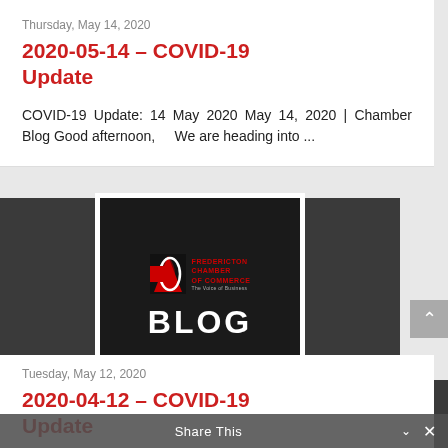Thursday, May 14, 2020
2020-05-14 – COVID-19 Update
COVID-19 Update: 14 May 2020 May 14, 2020 | Chamber Blog Good afternoon,     We are heading into ...
[Figure (logo): Fredericton Chamber of Commerce Blog logo — white-bordered black box with red chamber icon and white BLOG text on dark gray background]
Tuesday, May 12, 2020
2020-04-12 – COVID-19 Update